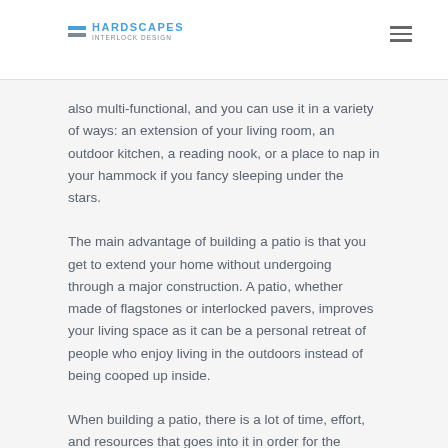HARDSCAPES INTERLOCK DESIGN
also multi-functional, and you can use it in a variety of ways: an extension of your living room, an outdoor kitchen, a reading nook, or a place to nap in your hammock if you fancy sleeping under the stars.
The main advantage of building a patio is that you get to extend your home without undergoing through a major construction. A patio, whether made of flagstones or interlocked pavers, improves your living space as it can be a personal retreat of people who enjoy living in the outdoors instead of being cooped up inside.
When building a patio, there is a lot of time, effort, and resources that goes into it in order for the homeowner to get the most out of it. For starters,